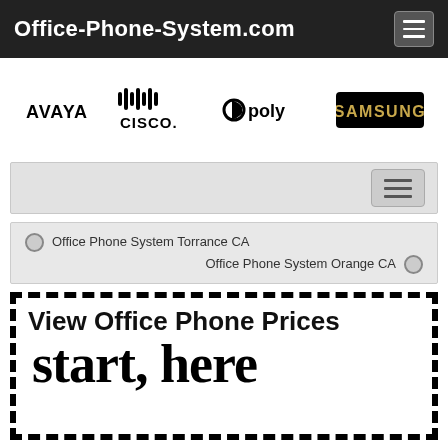Office-Phone-System.com
[Figure (logo): Brand logos: AVAYA, Cisco, Poly, Samsung arranged horizontally]
[Figure (screenshot): Navigation bar with hamburger menu button on right]
[Figure (screenshot): Radio button navigation: Office Phone System Torrance CA / Office Phone System Orange CA]
[Figure (infographic): Dashed border CTA box with heading 'View Office Phone Prices' and handwritten text 'start here']